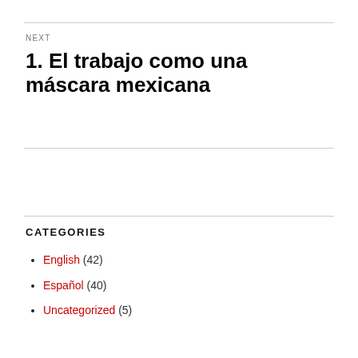NEXT
1. El trabajo como una máscara mexicana
CATEGORIES
English (42)
Español (40)
Uncategorized (5)